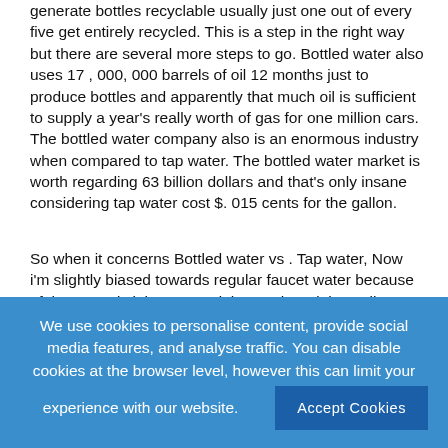generate bottles recyclable usually just one out of every five get entirely recycled. This is a step in the right way but there are several more steps to go. Bottled water also uses 17 , 000, 000 barrels of oil 12 months just to produce bottles and apparently that much oil is sufficient to supply a year's really worth of gas for one million cars. The bottled water company also is an enormous industry when compared to tap water. The bottled water market is worth regarding 63 billion dollars and that's only insane considering tap water cost $. 015 cents for the gallon.
So when it concerns Bottled water vs . Tap water, Now i'm slightly biased towards regular faucet water because of the rewards it has around the Earth and the wallet, yet unfortunately I'll still drink bottled water since its really convenient and I believe that taste better. I know this is allowed to be an informative dissertation but gowns honestly can certainly make money feel about the water industry. That shouldn't impact the decisions other folks
We use cookies to personalise content, provide social media features, and analyse traffic. You can disable cookies at the browser level, however this can limit your experience with our website. Accept Cookies